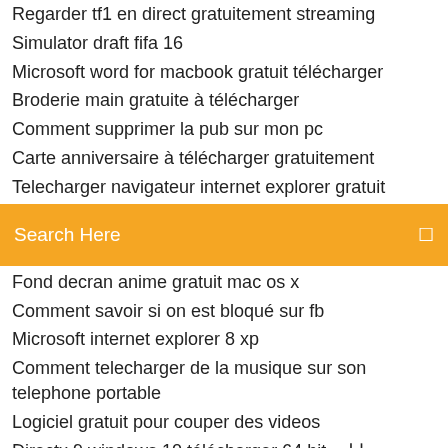Regarder tf1 en direct gratuitement streaming
Simulator draft fifa 16
Microsoft word for macbook gratuit télécharger
Broderie main gratuite à télécharger
Comment supprimer la pub sur mon pc
Carte anniversaire à télécharger gratuitement
Telecharger navigateur internet explorer gratuit
[Figure (screenshot): Orange/amber search bar with text 'Search Here' and a search icon on the right]
Fond decran anime gratuit mac os x
Comment savoir si on est bloqué sur fb
Microsoft internet explorer 8 xp
Comment telecharger de la musique sur son telephone portable
Logiciel gratuit pour couper des videos
Directx 9 windows 10 télécharger 64 bit دانلود
Telecharger spybot search and destroy windows 7
App telecommande universelle gratuite
Mytf1 replay les feux de l amour du 19 juin 2019
Win…